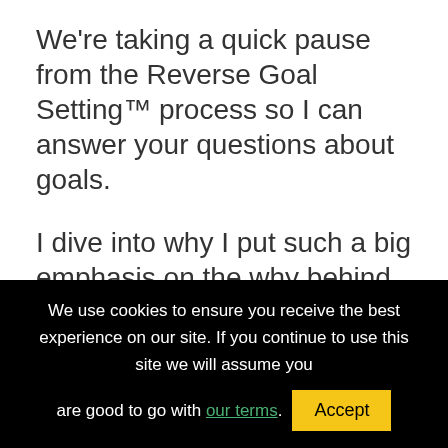We're taking a quick pause from the Reverse Goal Setting™ process so I can answer your questions about goals.
I dive into why I put such a big emphasis on the why behind your 5 year vision.
I answer the question on why I don't goals in a SMART or SMARTER format…
We use cookies to ensure you receive the best experience on our site. If you continue to use this site we will assume you are good to go with our terms.